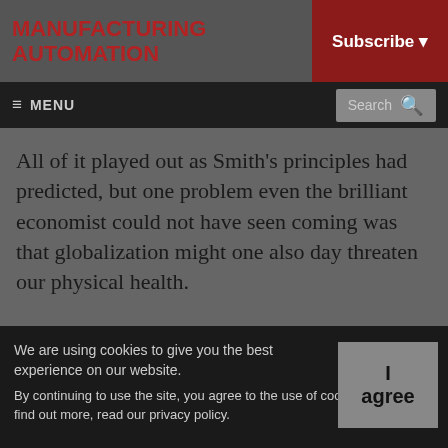MANUFACTURING AUTOMATION
Subscribe
≡ MENU  Search
All of it played out as Smith's principles had predicted, but one problem even the brilliant economist could not have seen coming was that globalization might one also day threaten our physical health.
We are using cookies to give you the best experience on our website.
By continuing to use the site, you agree to the use of cookies. To find out more, read our privacy policy.
I agree